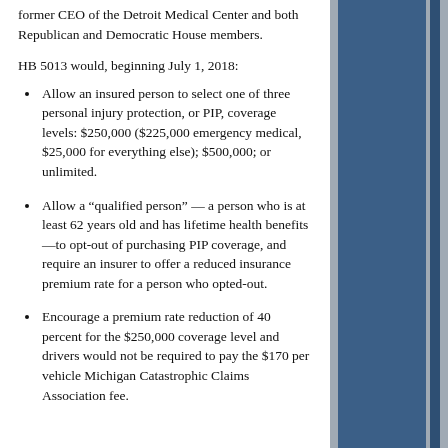former CEO of the Detroit Medical Center and both Republican and Democratic House members.
HB 5013 would, beginning July 1, 2018:
Allow an insured person to select one of three personal injury protection, or PIP, coverage levels: $250,000 ($225,000 emergency medical, $25,000 for everything else); $500,000; or unlimited.
Allow a “qualified person” — a person who is at least 62 years old and has lifetime health benefits—to opt-out of purchasing PIP coverage, and require an insurer to offer a reduced insurance premium rate for a person who opted-out.
Encourage a premium rate reduction of 40 percent for the $250,000 coverage level and drivers would not be required to pay the $170 per vehicle Michigan Catastrophic Claims Association fee.